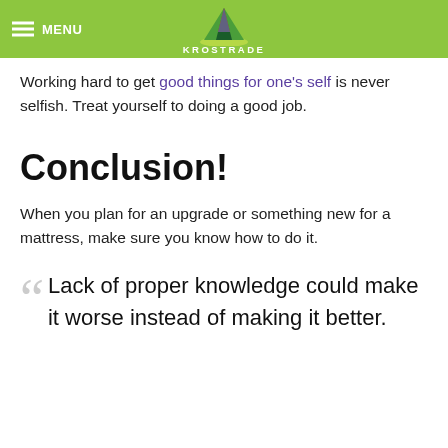MENU | KROSTRADE
Working hard to get good things for one’s self is never selfish. Treat yourself to doing a good job.
Conclusion!
When you plan for an upgrade or something new for a mattress, make sure you know how to do it.
“Lack of proper knowledge could make it worse instead of making it better.